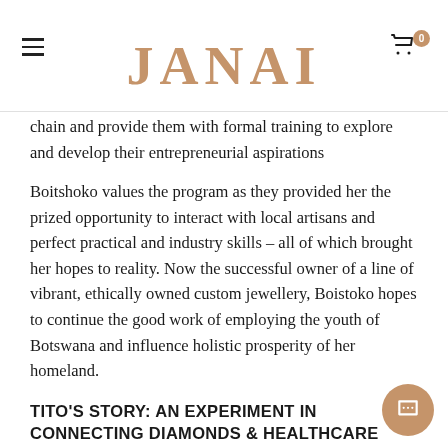JANAI
chain and provide them with formal training to explore and develop their entrepreneurial aspirations
Boitshoko values the program as they provided her the prized opportunity to interact with local artisans and perfect practical and industry skills – all of which brought her hopes to reality. Now the successful owner of a line of vibrant, ethically owned custom jewellery, Boistoko hopes to continue the good work of employing the youth of Botswana and influence holistic prosperity of her homeland.
TITO'S STORY: AN EXPERIMENT IN CONNECTING DIAMONDS & HEALTHCARE
As a young girl, Tito enjoyed all the benefits that diamond-rich Botswana provided. Among these was free education which was the most important thing to her. After practising physiotherapy professionally in Botswana for a period of time, Tito decided to